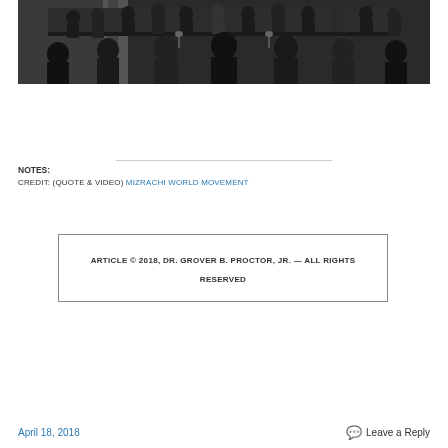[Figure (photo): Black and white photograph of a large formal assembly or congressional hearing, showing many men in suits seated at and around a long table, with more people visible in rows behind them.]
NOTES:
CREDIT: (QUOTE & VIDEO) MIZRACHI WORLD MOVEMENT
ARTICLE © 2018, DR. GROVER B. PROCTOR, JR. — ALL RIGHTS RESERVED
April 18, 2018    Leave a Reply